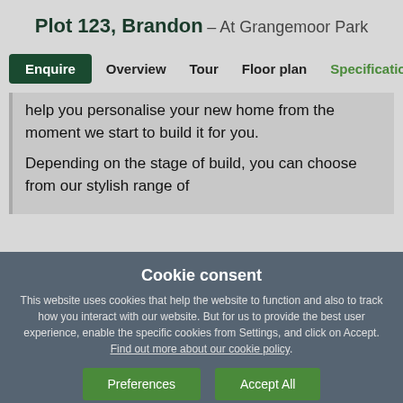Plot 123, Brandon – At Grangemoor Park
Enquire | Overview | Tour | Floor plan | Specification
help you personalise your new home from the moment we start to build it for you.
Depending on the stage of build, you can choose from our stylish range of
Cookie consent
This website uses cookies that help the website to function and also to track how you interact with our website. But for us to provide the best user experience, enable the specific cookies from Settings, and click on Accept. Find out more about our cookie policy.